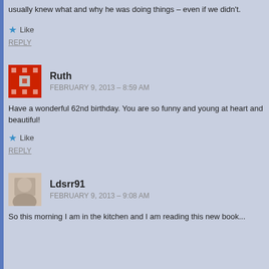usually knew what and why he was doing things – even if we didn't.
Like
REPLY
Ruth
FEBRUARY 9, 2013 – 8:59 AM
Have a wonderful 62nd birthday. You are so funny and young at heart and beautiful!
Like
REPLY
Ldsrr91
FEBRUARY 9, 2013 – 9:08 AM
So this morning I am in the kitchen and I am reading this new book...